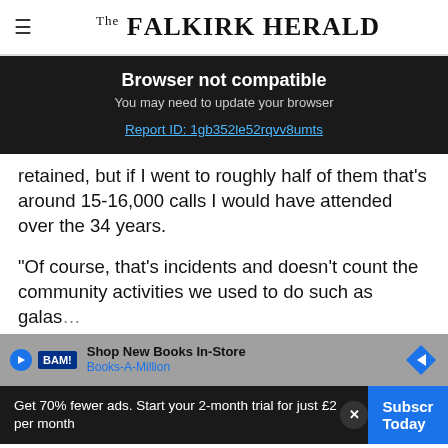The Falkirk Herald
Browser not compatible
You may need to update your browser
Report ID: 1gb352le52rqvv8umts
retained, but if I went to roughly half of them that's around 15-16,000 calls I would have attended over the 34 years.
“Of course, that’s incidents and doesn’t count the community activities we used to do such as galas
Get 70% fewer ads. Start your 2-month trial for just £2 per month
Subscribe Today